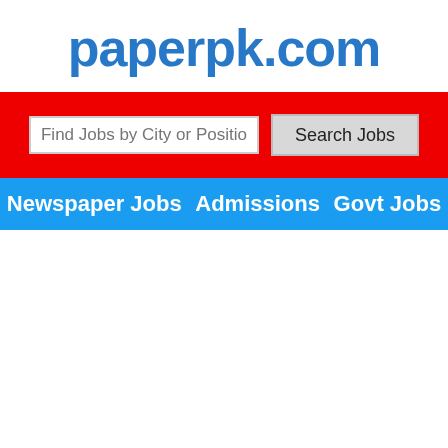paperpk.com
[Figure (screenshot): Search bar with placeholder 'Find Jobs by City or Position' and 'Search Jobs' button on red background]
Newspaper Jobs   Admissions   Govt Jobs